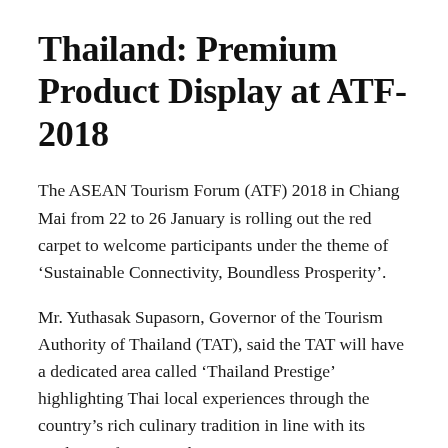Thailand: Premium Product Display at ATF-2018
The ASEAN Tourism Forum (ATF) 2018 in Chiang Mai from 22 to 26 January is rolling out the red carpet to welcome participants under the theme of ‘Sustainable Connectivity, Boundless Prosperity’.
Mr. Yuthasak Supasorn, Governor of the Tourism Authority of Thailand (TAT), said the TAT will have a dedicated area called ‘Thailand Prestige’ highlighting Thai local experiences through the country’s rich culinary tradition in line with its marketing focus on Thai gastronomy tourism.